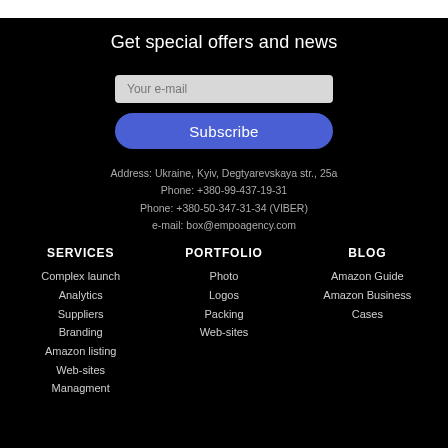Get special offers and news
Your e-mail
Subscribe
Address: Ukraine, Kyiv, Degtyarevskaya str., 25a
Phone: +380-99-437-19-31
Phone: +380-50-347-31-34 (VIBER)
e-mail: box@empoagency.com
SERVICES
Complex launch
Analytics
Suppliers
Branding
Amazon listing
Web-sites
Management
PORTFOLIO
Photo
Logos
Packing
Web-sites
BLOG
Amazon Guide
Amazon Business
Cases